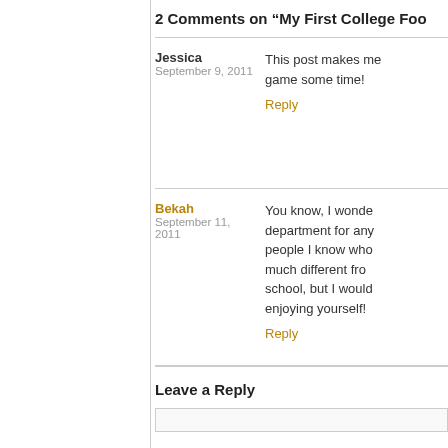2 Comments on “My First College Foo…”
Jessica
September 9, 2011
This post makes me… game some time!
Reply
Bekah
September 11, 2011
You know, I wonde… department for any… people I know who… much different fro… school, but I would… enjoying yourself!
Reply
Leave a Reply